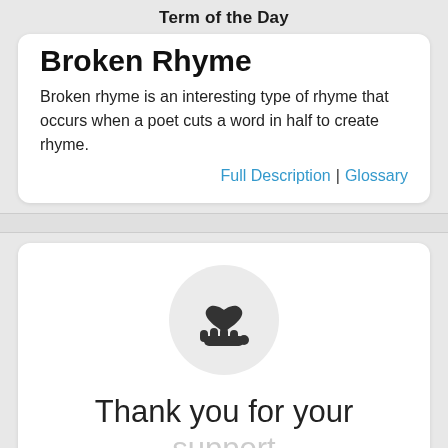Term of the Day
Broken Rhyme
Broken rhyme is an interesting type of rhyme that occurs when a poet cuts a word in half to create rhyme.
Full Description | Glossary
[Figure (illustration): A hand holding a heart icon, indicating charitable support, inside a light gray circle]
Thank you for your support